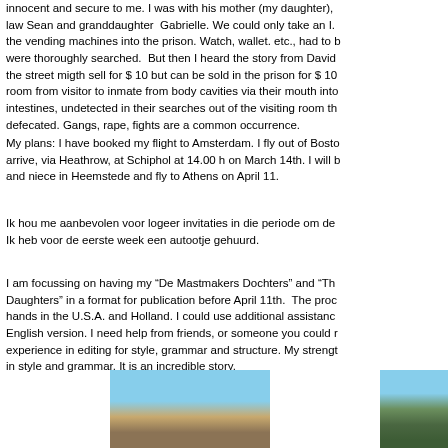innocent and secure to me. I was with his mother (my daughter), law Sean and granddaughter Gabrielle. We could only take an I. the vending machines into the prison. Watch, wallet. etc., had to b were thoroughly searched. But then I heard the story from David the street migth sell for $ 10 but can be sold in the prison for $ 10 room from visitor to inmate from body cavities via their mouth into intestines, undetected in their searches out of the visiting room th defecated. Gangs, rape, fights are a common occurrence.
My plans: I have booked my flight to Amsterdam. I fly out of Bosto arrive, via Heathrow, at Schiphol at 14.00 h on March 14th. I will b and niece in Heemstede and fly to Athens on April 11.
Ik hou me aanbevolen voor logeer invitaties in die periode om de Ik heb voor de eerste week een autootje gehuurd.
I am focussing on having my “De Mastmakers Dochters” and “Th Daughters” in a format for publication before April 11th. The proc hands in the U.S.A. and Holland. I could use additional assistanc English version. I need help from friends, or someone you could r experience in editing for style, grammar and structure. My strengt in style and grammar. It is an incredible story.
[Figure (photo): Outdoor photo showing a building or structure against a blue sky with bare trees]
[Figure (photo): Outdoor photo showing trees and possibly a building in winter or early spring]